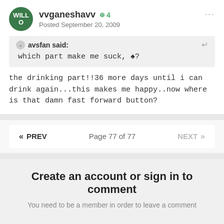vvganeshavv +4
Posted September 20, 2009
avsfan said:
which part make me suck, ♣?
the drinking part!!36 more days until i can drink again...this makes me happy..now where is that damn fast forward button?
« PREV   Page 77 of 77   NEXT »
Create an account or sign in to comment
You need to be a member in order to leave a comment